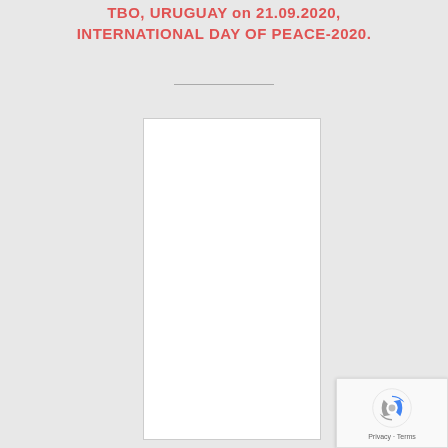TBO, URUGUAY on 21.09.2020, INTERNATIONAL DAY OF PEACE-2020.
[Figure (other): A blank white rectangle representing an embedded image placeholder]
[Figure (other): reCAPTCHA badge with Privacy and Terms links]